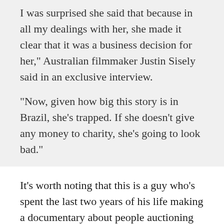I was surprised she said that because in all my dealings with her, she made it clear that it was a business decision for her," Australian filmmaker Justin Sisely said in an exclusive interview.
"Now, given how big this story is in Brazil, she's trapped. If she doesn't give any money to charity, she's going to look bad."
It's worth noting that this is a guy who's spent the last two years of his life making a documentary about people auctioning off their virginities, so, you know, feel free to take his opinion with a grain of salt.
And despite taking money in exchange for sex, Catarina denies being a prostitute. "If you only do it once in your...